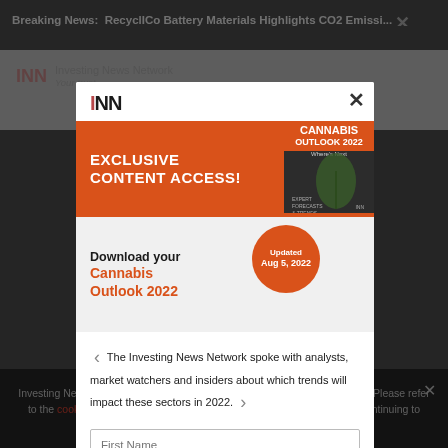Breaking News: RecyclICo Battery Materials Highlights CO2 Emissi...
[Figure (screenshot): INN (Investing News Network) website screenshot dimmed in background]
Investing News Network websites or approved third-party tools use cookies. Please refer to the cookie policy for more related data, privacy and GDPR compliance. By continuing to browse the site, you agree to our use of cookies.
[Figure (infographic): INN modal popup with Cannabis Outlook 2022 exclusive content access offer]
EXCLUSIVE CONTENT ACCESS!
Download your Cannabis Outlook 2022
Updated Aug 5, 2022
The Investing News Network spoke with analysts, market watchers and insiders about which trends will impact these sectors in 2022.
First Name
Last Name